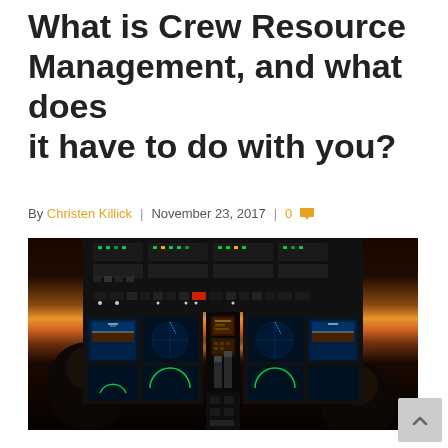What is Crew Resource Management, and what does it have to do with you?
By Christen Killick | November 23, 2017 | 0
[Figure (photo): Cockpit of a commercial aircraft at night/dusk showing illuminated instrument panels, two pilots silhouetted, with a sunset/city lights horizon visible through the windshield.]